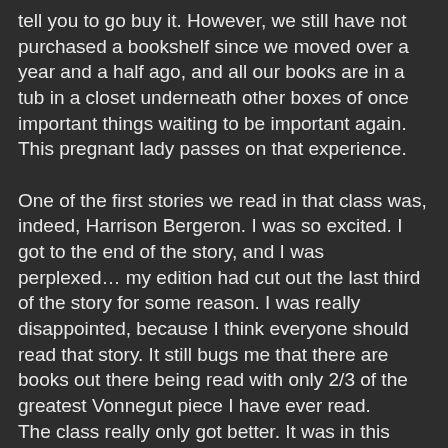tell you to go buy it. However, we still have not purchased a bookshelf since we moved over a year and a half ago, and all our books are in a tub in a closet underneath other boxes of once important things waiting to be important again. This pregnant lady passes on that experience.
One of the first stories we read in that class was, indeed, Harrison Bergeron. I was so excited. I got to the end of the story, and I was perplexed… my edition had cut out the last third of the story for some reason. I was really disappointed, because I think everyone should read that story. It still bugs me that there are books out there being read with only 2/3 of the greatest Vonnegut piece I have ever read. The class really only got better. It was in this class that I was introduced to the short story "The Ones Who Walk Away From Omelas," written by Ursula K. LeGuin. This next statement might officially classify me as a lit nerd, but I really enjoyed deconstructing these stories and talking about how they apply to life as we know it and the human experience. It is just fantastic. So, JGB and this class were my inspiration for this series of posts. There are wonderful morals and ideas embodded within those stories that are of great